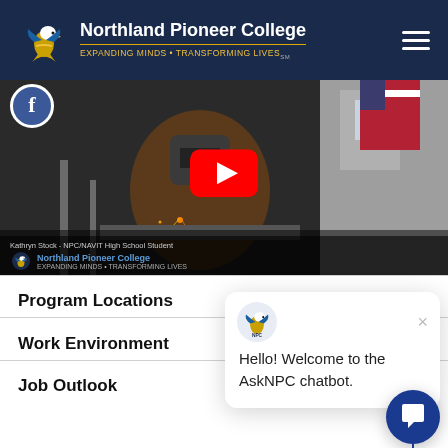[Figure (logo): Northland Pioneer College eagle logo with text 'Northland Pioneer College' and tagline 'Expanding Minds • Transforming Lives' on dark navy header with hamburger menu icon]
[Figure (screenshot): YouTube video thumbnail showing a welding student with NPC branding at bottom, YouTube play button overlay, and Facebook icon in top-left corner. Caption reads 'Kathryn Stock - NPC/NAVIT High School Student' with Northland Pioneer College logo.]
Program Locations
Work Environment
Job Outlook
[Figure (screenshot): AskNPC chatbot popup dialog with NPC eagle logo at top, close button X, and message: 'Hello! Welcome to the AskNPC chatbot.' Also shows circular dark blue chat trigger button in bottom right corner.]